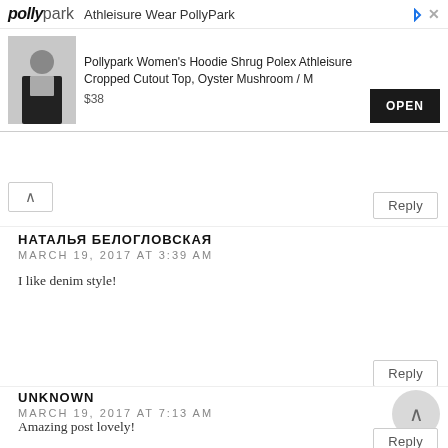[Figure (screenshot): PollyPark advertisement banner showing athleisure wear product with logo, product name, price $38, and OPEN button]
НАТАЛЬЯ БЕЛОГЛОВСКАЯ
MARCH 19, 2017 AT 3:39 AM
I like denim style!
UNKNOWN
MARCH 19, 2017 AT 7:13 AM
Amazing post lovely!

http://bit.ly/2mXcYzN

Molly X